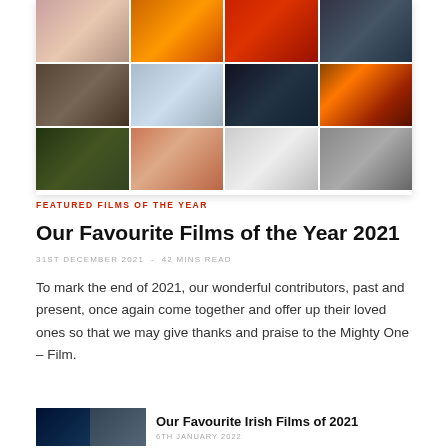[Figure (photo): 3x4 grid of movie film stills from various 2021 films, displayed as a collage with small gaps between each image]
FEATURED FILMS OF THE YEAR
Our Favourite Films of the Year 2021
31ST DECEMBER 2021  -  42 MINS READ
To mark the end of 2021, our wonderful contributors, past and present, once again come together and offer up their loved ones so that we may give thanks and praise to the Mighty One – Film.
[Figure (photo): Two side-by-side thumbnails showing movie stills for 'Our Favourite Irish Films of 2021' teaser]
Our Favourite Irish Films of 2021
6TH JANUARY 2022